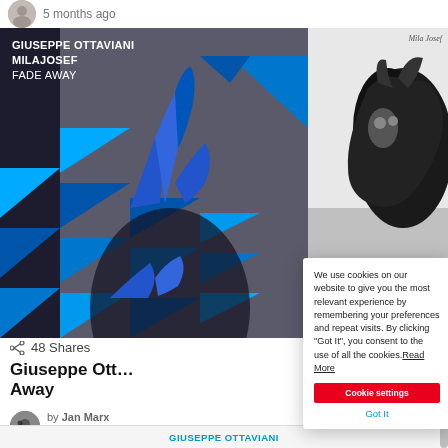5 months ago
[Figure (photo): Album cover for Giuseppe Ottaviani & Milajosef - Fade Away, featuring blue geometric triangles and a figure with blue-painted hands against a dark background]
[Figure (photo): Black and white close-up photo of a cat, labeled Mila Josef]
48 Shares
Giuseppe Ott... Away
by Jan Marx
7 months ago
We use cookies on our website to give you the most relevant experience by remembering your preferences and repeat visits. By clicking “Got It”, you consent to the use of all the cookies. Read More
Cookie settings
Got It
GIUSEPPE OTTAVIANI